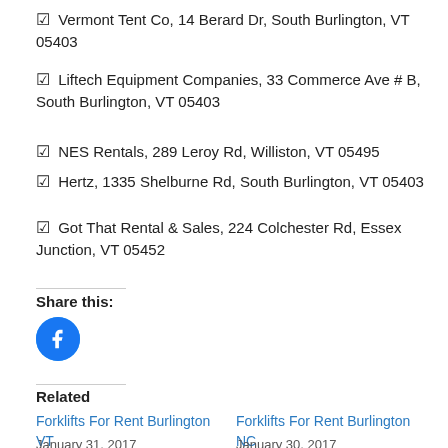☑ Vermont Tent Co, 14 Berard Dr, South Burlington, VT 05403
☑ Liftech Equipment Companies, 33 Commerce Ave # B, South Burlington, VT 05403
☑ NES Rentals, 289 Leroy Rd, Williston, VT 05495
☑ Hertz, 1335 Shelburne Rd, South Burlington, VT 05403
☑ Got That Rental & Sales, 224 Colchester Rd, Essex Junction, VT 05452
Share this:
[Figure (other): Twitter and Facebook share buttons]
Related
Forklifts For Rent Burlington VT
January 31, 2017
In "Vermont"
Forklifts For Rent Burlington NC
January 30, 2017
In "North Carolina"